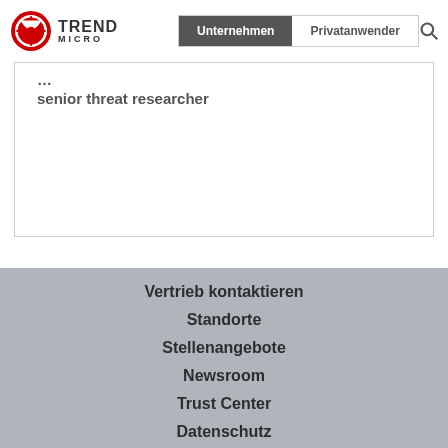Trend Micro — Unternehmen | Privatanwender
senior threat researcher
Vertrieb kontaktieren
Standorte
Stellenangebote
Newsroom
Trust Center
Datenschutz